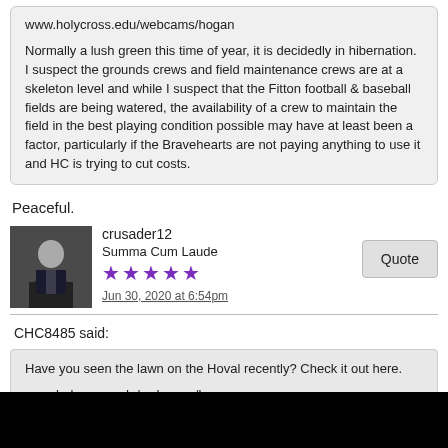www.holycross.edu/webcams/hogan
Normally a lush green this time of year, it is decidedly in hibernation. I suspect the grounds crews and field maintenance crews are at a skeleton level and while I suspect that the Fitton football & baseball fields are being watered, the availability of a crew to maintain the field in the best playing condition possible may have at least been a factor, particularly if the Bravehearts are not paying anything to use it and HC is trying to cut costs.
Peaceful.
crusader12
Summa Cum Laude
Jun 30, 2020 at 6:54pm
CHC8485 said:
Have you seen the lawn on the Hoval recently? Check it out here.
www.holycross.edu/webcams/hogan
Normally a lush green this time of year, it is decidedly in hibernation.